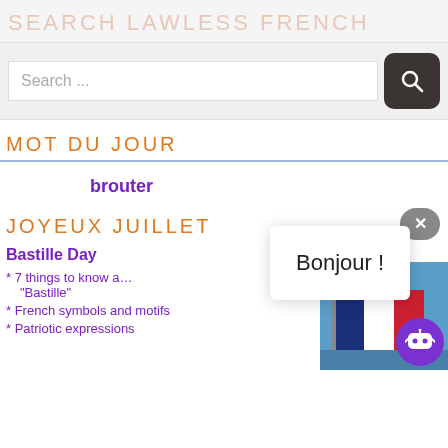SEARCH LAWLESS FRENCH
Search ...
MOT DU JOUR
brouter
JOYEUX JUILLET
Bastille Day
* 7 things to know about "Bastille"
* French symbols and motifs
* Patriotic expressions
Bonjour !
[Figure (photo): French tricolor flag photo]